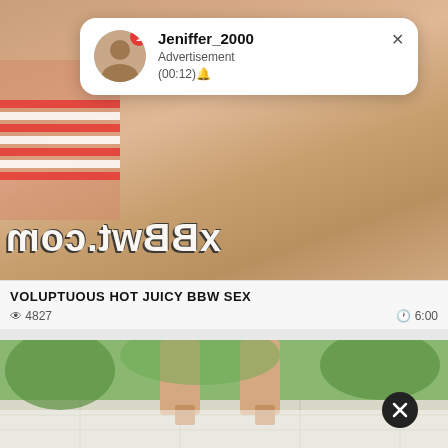[Figure (screenshot): Adult video thumbnail showing person in striped bikini with xbbwt.com mirrored watermark overlay]
Jeniffer_2000
Advertisement
(00:12)🔔
VOLUPTUOUS HOT JUICY BBW SEX
👁 4827   🕐 6:00
[Figure (screenshot): Video thumbnail showing person walking outdoors on paved path with greenery]